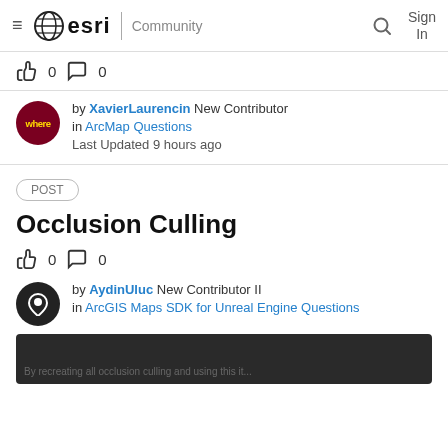esri Community Sign In
0  0
by XavierLaurencin New Contributor in ArcMap Questions Last Updated 9 hours ago
POST
Occlusion Culling
0  0
by AydinUluc New Contributor II in ArcGIS Maps SDK for Unreal Engine Questions